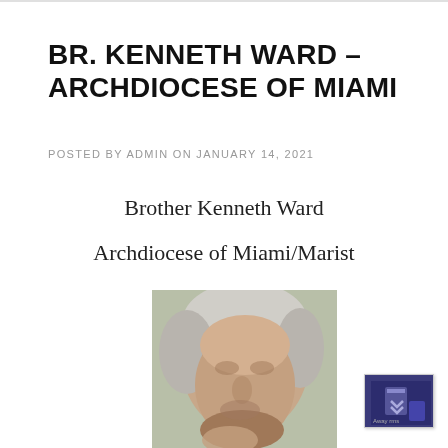BR. KENNETH WARD – ARCHDIOCESE OF MIAMI
POSTED BY ADMIN ON JANUARY 14, 2021
Brother Kenneth Ward
Archdiocese of Miami/Marist
[Figure (photo): Headshot photo of Brother Kenneth Ward, an elderly man with white/grey hair, facing slightly downward, against a light greenish background.]